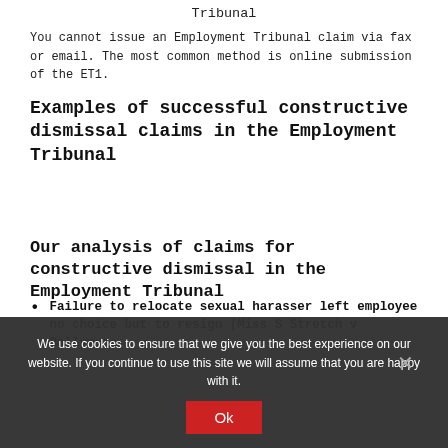Tribunal
You cannot issue an Employment Tribunal claim via fax or email. The most common method is online submission of the ET1.
Examples of successful constructive dismissal claims in the Employment Tribunal
Our analysis of claims for constructive dismissal in the Employment Tribunal
Failure to relocate sexual harasser left employee no choice but to resign (Miss S Stretch v Ballymore
We use cookies to ensure that we give you the best experience on our website. If you continue to use this site we will assume that you are happy with it.